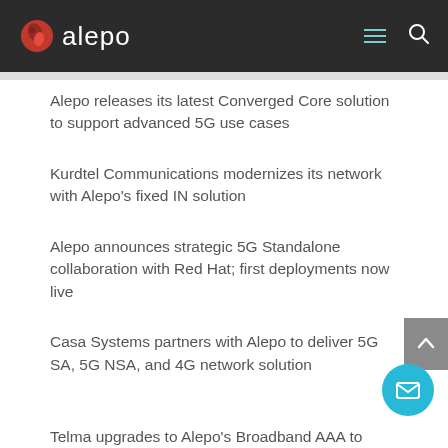alepo
Alepo releases its latest Converged Core solution to support advanced 5G use cases
Kurdtel Communications modernizes its network with Alepo's fixed IN solution
Alepo announces strategic 5G Standalone collaboration with Red Hat; first deployments now live
Casa Systems partners with Alepo to deliver 5G SA, 5G NSA, and 4G network solution
Telma upgrades to Alepo's Broadband AAA to